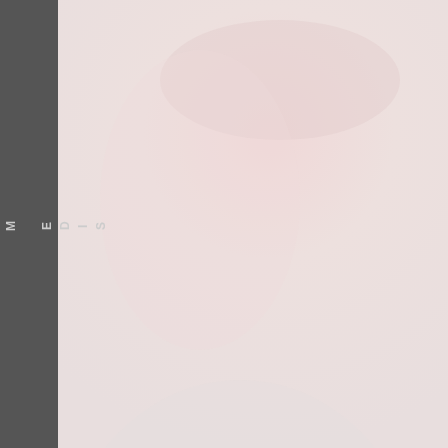[Figure (photo): Background photo of doll/hands in soft pink/white tones]
SIDE MENU
[Figure (photo): Black and white doll face thumbnail with dark hair]
Click Here
Chatt
All The Differe
Americä
[Figure (photo): Black and white doll face thumbnail with dark hair]
Click Here
Chatt
Prototyp
American BroŴ
[Figure (photo): Black and white doll face thumbnail with dark hair]
Click Here
Chatt
Pictures of Rare
Americä
[Figure (photo): Black and white doll face thumbnail with dark hair]
Click Here
Chatt
French 
"Voicé
[Figure (photo): Black and white doll face thumbnail with dark hair]
Click Here
Chattt
Spanish
"Voicé
[Figure (photo): Black and white doll face thumbnail with dark hair]
Click Here
Chatty
Foñ
Eng,Fré